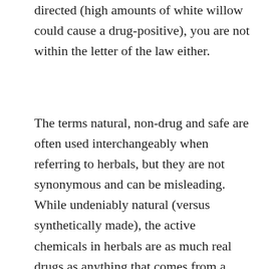directed (high amounts of white willow could cause a drug-positive), you are not within the letter of the law either.
The terms natural, non-drug and safe are often used interchangeably when referring to herbals, but they are not synonymous and can be misleading. While undeniably natural (versus synthetically made), the active chemicals in herbals are as much real drugs as anything that comes from a pharmaceutical company. For example, autumn crocus is an herbal ingredient in arthritis remedies. It contains the same chemical, in the same form, as the human antigout medication colchicine. Black cohosh and white